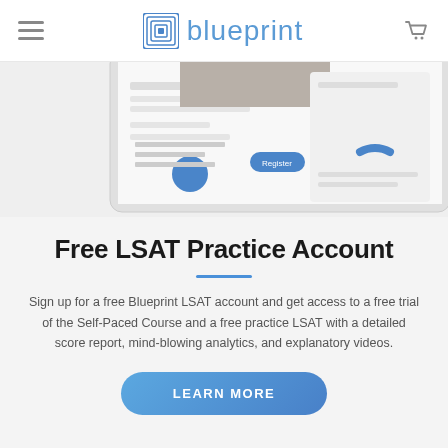Blueprint LSAT — navigation header with hamburger menu, Blueprint logo, and cart icon
[Figure (screenshot): Partial screenshot of Blueprint LSAT app/website interface showing a practice test question and analytics dashboard on a tablet/device mockup]
Free LSAT Practice Account
Sign up for a free Blueprint LSAT account and get access to a free trial of the Self-Paced Course and a free practice LSAT with a detailed score report, mind-blowing analytics, and explanatory videos.
LEARN MORE